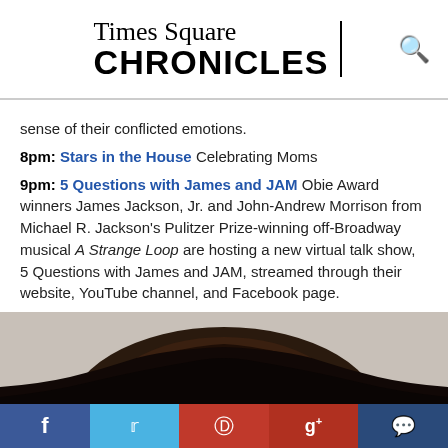Times Square CHRONICLES
sense of their conflicted emotions.
8pm: Stars in the House Celebrating Moms
9pm: 5 Questions with James and JAM Obie Award winners James Jackson, Jr. and John-Andrew Morrison from Michael R. Jackson’s Pulitzer Prize-winning off-Broadway musical A Strange Loop are hosting a new virtual talk show, 5 Questions with James and JAM, streamed through their website, YouTube channel, and Facebook page.
[Figure (photo): Bottom portion of a person's head showing dark curly hair, cropped screenshot]
Social share bar: Facebook, Twitter, Pinterest, Google+, Comment